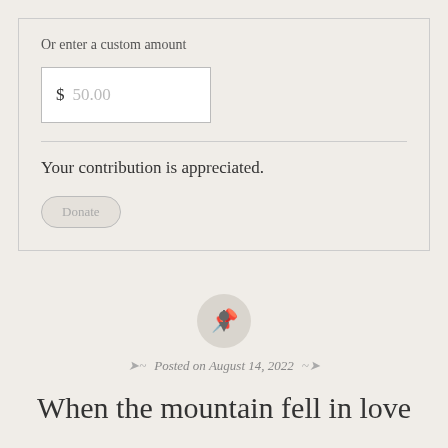Or enter a custom amount
$ 50.00
Your contribution is appreciated.
Donate
[Figure (illustration): A circular gray pin/pushpin icon button]
Posted on August 14, 2022
When the mountain fell in love